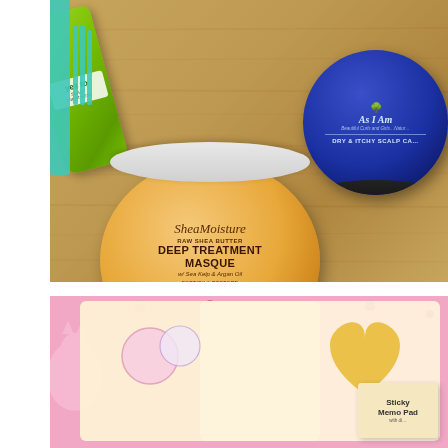[Figure (photo): Overhead flat-lay photo of hair care products on a wooden surface. Shows a SheaMoisture Raw Shea Butter Deep Treatment Masque (orange/gold jar), a Yes To green scalp treatment bottle, and an As I Am Dry & Itchy Scalp Care blue jar, with a teal comb in the background.]
[Figure (photo): Photo of kawaii/cute stationery items on a pink background featuring cartoon tiger/cat characters. Includes sticker sheets with illustrated animal characters and a Sticky Memo Pad product.]